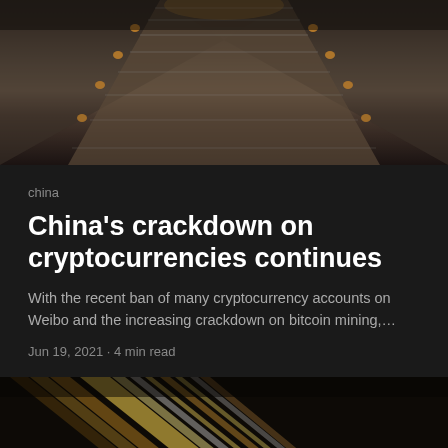[Figure (photo): Top-down view of an escalator with metal steps receding into the distance, lit by warm amber lights, dark tone]
china
China's crackdown on cryptocurrencies continues
With the recent ban of many cryptocurrency accounts on Weibo and the increasing crackdown on bitcoin mining,…
Jun 19, 2021 · 4 min read
[Figure (photo): Abstract image with diagonal streaks of bright golden/white light against a dark background, resembling stacked papers or light beams]